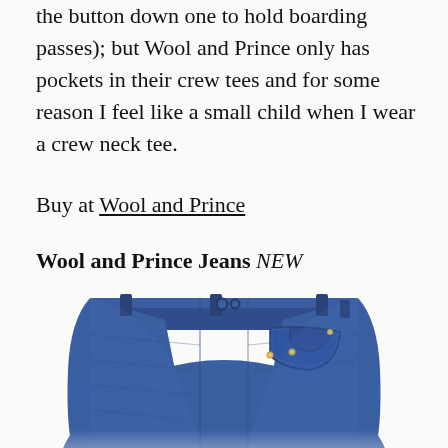the button down one to hold boarding passes); but Wool and Prince only has pockets in their crew tees and for some reason I feel like a small child when I wear a crew neck tee.
Buy at Wool and Prince
Wool and Prince Jeans NEW
[Figure (photo): Photo of blue denim jeans folded showing the waistband, belt loops, and front pocket area with rivets]